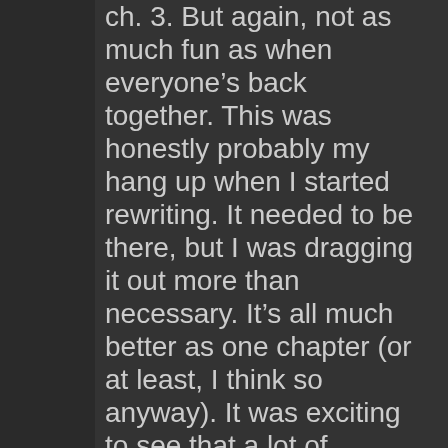ch. 3. But again, not as much fun as when everyone's back together. This was honestly probably my hang up when I started rewriting. It needed to be there, but I was dragging it out more than necessary. It's all much better as one chapter (or at least, I think so anyway). It was exciting to see that a lot of people (or a lot of spam bots) were curious about PNecklace when it first appeared (or "a lot" by my standards, I'm pretty used to not having hoards of readers), but I lost about half of them once we got to ch. 3.